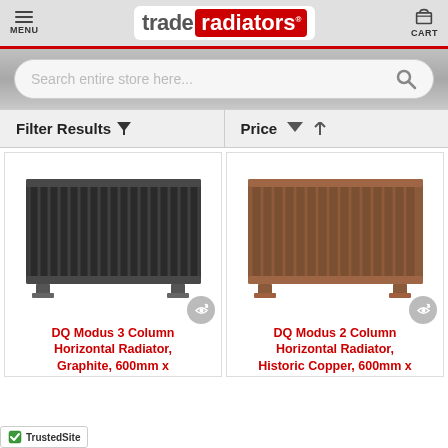[Figure (screenshot): Trade Radiators website screenshot showing header with logo, search bar, filter bar, and two radiator product listings]
trade radiators
Search entire store here...
Filter Results ▼   Price ˅ ↑
[Figure (photo): DQ Modus 3 Column Horizontal Radiator in dark graphite/anthracite colour]
[Figure (photo): DQ Modus 2 Column Horizontal Radiator in Historic Copper colour]
DQ Modus 3 Column Horizontal Radiator, Graphite, 600mm x
DQ Modus 2 Column Horizontal Radiator, Historic Copper, 600mm x
TrustedSite